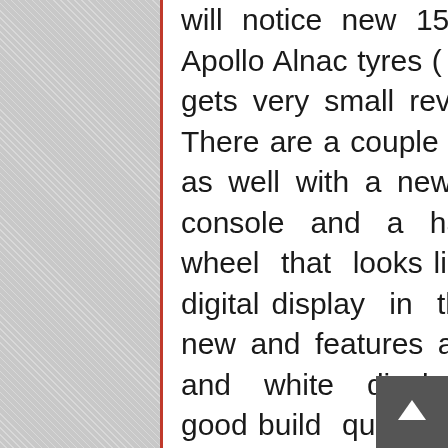will notice new 15- inch wheels wrapped in new Apollo Alnac tyres (Highline trim) while the rear gets very small revisions to the tail lamp design. There are a couple of small changes to the insides as well with a new silver trim around the centre console and a handsome flat bottom steering wheel that looks like it came off a Golf. The digital display in the instrument cluster is also new and features a very clear and crisp black and white display. The Polo's strong points of good build quality remain and the new engine makes this more of a complete package. Since the new 1.5- litre diesel falls under the excise limits VW have managed to